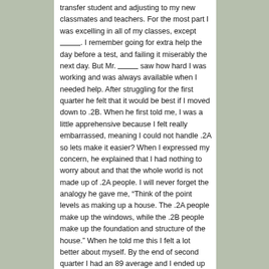transfer student and adjusting to my new classmates and teachers. For the most part I was excelling in all of my classes, except_____. I remember going for extra help the day before a test, and failing it miserably the next day. But Mr. _____ saw how hard I was working and was always available when I needed help. After struggling for the first quarter he felt that it would be best if I moved down to .2B. When he first told me, I was a little apprehensive because I felt really embarrassed, meaning I could not handle .2A so lets make it easier? When I expressed my concern, he explained that I had nothing to worry about and that the whole world is not made up of .2A people. I will never forget the analogy he gave me, “Think of the point levels as making up a house. The .2A people make up the windows, while the .2B people make up the foundation and structure of the house.” When he told me this I felt a lot better about myself. By the end of second quarter I had an 89 average and I ended up with a 92 average for the year. Switching point levels was by far the best decision I could have made. I am so glad that I had the opportunity to have had Mr. _____ because he represents the virtue of generosity. There is absolutely no doubt in my mind that he could not be anywhere in the world. I met him in